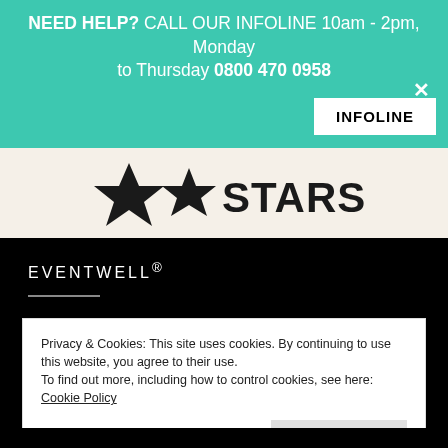NEED HELP? CALL OUR INFOLINE 10am - 2pm, Monday to Thursday 0800 470 0958
INFOLINE
[Figure (logo): Two star shapes and the word STARS — partial website header logo on cream/beige background]
EVENTWELL®
Privacy & Cookies: This site uses cookies. By continuing to use this website, you agree to their use. To find out more, including how to control cookies, see here: Cookie Policy
Close and accept